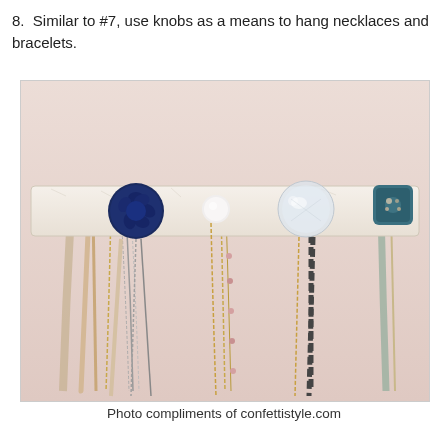8.  Similar to #7, use knobs as a means to hang necklaces and bracelets.
[Figure (photo): A white distressed wooden board mounted on a pink wall with decorative knobs — a navy blue rose knob, a small white round knob, a clear crystal knob, and a teal square knob — from which various necklaces and bracelets hang, including beaded chains, delicate gold chains, a chunky dark chain-link necklace, and fabric/ribbon strands.]
Photo compliments of confettistyle.com